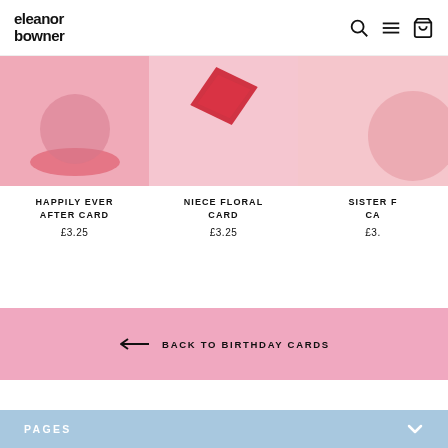eleanor bowner
[Figure (photo): Product image for Happily Ever After Card with pink background]
HAPPILY EVER AFTER CARD
£3.25
[Figure (photo): Product image for Niece Floral Card with pink background and red floral element]
NIECE FLORAL CARD
£3.25
[Figure (photo): Product image for Sister F... Card (partially visible) with pink background]
SISTER F... CA...
£3...
← BACK TO BIRTHDAY CARDS
PAGES